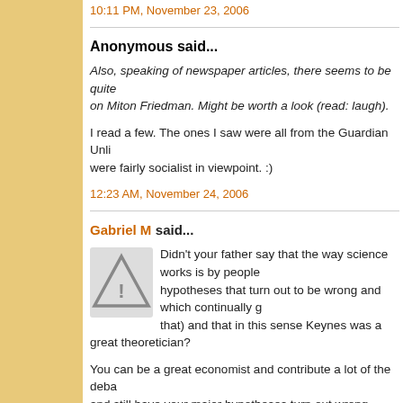10:11 PM, November 23, 2006
Anonymous said...
Also, speaking of newspaper articles, there seems to be quite on Miton Friedman. Might be worth a look (read: laugh).
I read a few. The ones I saw were all from the Guardian Unli were fairly socialist in viewpoint. :)
12:23 AM, November 24, 2006
Gabriel M said...
[Figure (illustration): Grey avatar/warning icon with triangle and exclamation mark]
Didn't your father say that the way science works is by people hypotheses that turn out to be wrong and which continually g that) and that in this sense Keynes was a great theoretician?
You can be a great economist and contribute a lot of the deba and still have your major hypotheses turn out wrong.
Anyway, monetarism is, as I see it, a special case of Keynesi power of monetary policy over more orthodox Keynesian pre same extended family so this is why they managed to debate Plus, didn't Milton Friedman, when first building a large/comp into a modified from form of the IS-LM2.